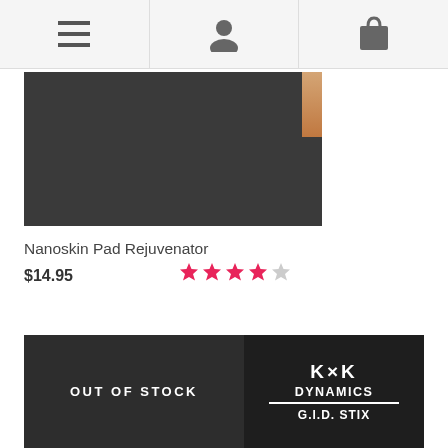Navigation bar with hamburger menu, user profile, and shopping bag icons
[Figure (photo): Product image for Nanoskin Pad Rejuvenator - dark background with product packaging on right edge]
Nanoskin Pad Rejuvenator
$14.95
[Figure (other): 4 out of 5 star rating in pink/hot-pink color]
[Figure (photo): Product image - left half dark gray with OUT OF STOCK overlay, right half shows KxK Dynamics G.I.D. Stix product packaging]
OUT OF STOCK